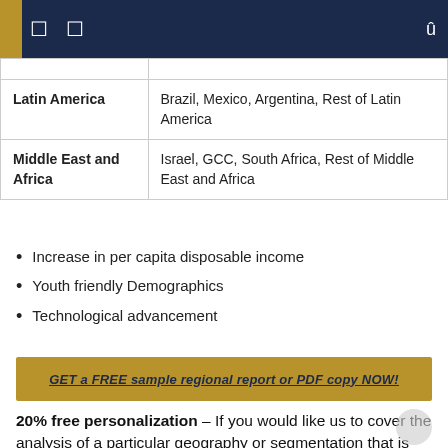|  |  |
| Latin America | Brazil, Mexico, Argentina, Rest of Latin America |
| Middle East and Africa | Israel, GCC, South Africa, Rest of Middle East and Africa |
Increase in per capita disposable income
Youth friendly Demographics
Technological advancement
GET a FREE sample regional report or PDF copy NOW!
20% free personalization – If you would like us to cover the analysis of a particular geography or segmentation that is not part of the scope, please let us know here so that we can customize the report for